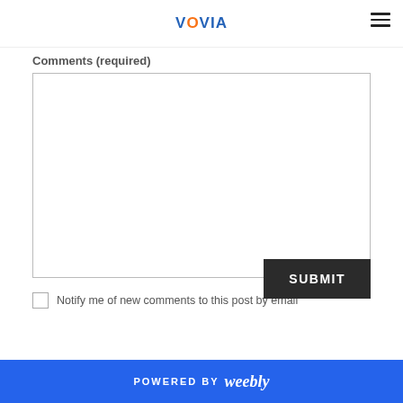VOVIA
Comments (required)
[Figure (other): Empty text area input field for comments]
Notify me of new comments to this post by email
SUBMIT
POWERED BY weebly